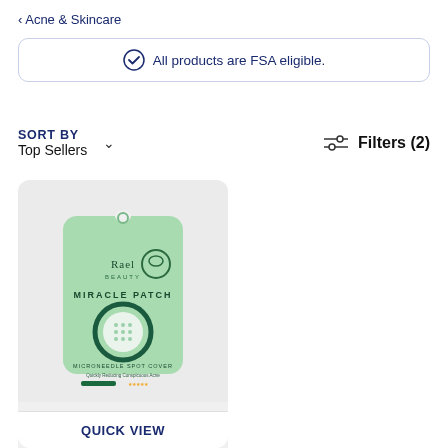< Acne & Skincare
All products are FSA eligible.
SORT BY
Top Sellers
Filters (2)
[Figure (photo): Rael Beauty Miracle Patch Microneedle Spot Cover product package in mint green color with a large dark green circle on the front]
QUICK VIEW